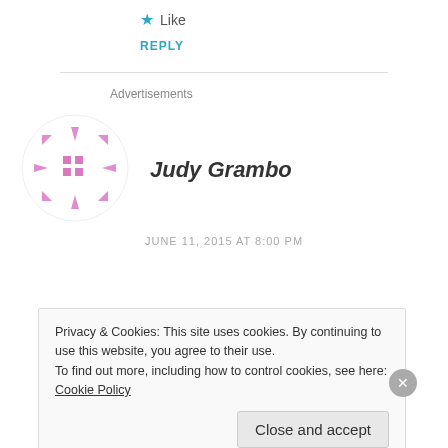★ Like
REPLY
Advertisements
Judy Grambo
JUNE 11, 2015 AT 8:00 PM
Privacy & Cookies: This site uses cookies. By continuing to use this website, you agree to their use.
To find out more, including how to control cookies, see here: Cookie Policy
Close and accept